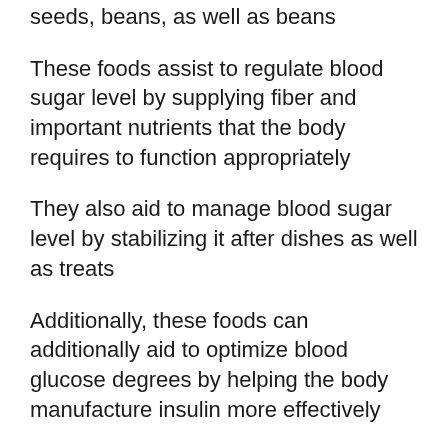seeds, beans, as well as beans
These foods assist to regulate blood sugar level by supplying fiber and important nutrients that the body requires to function appropriately
They also aid to manage blood sugar level by stabilizing it after dishes as well as treats
Additionally, these foods can additionally aid to optimize blood glucose degrees by helping the body manufacture insulin more effectively
Finally, these foods might additionally help to reduce hunger as well as sugar cravings, in addition to causing a discount of between